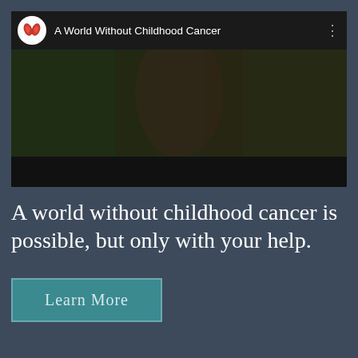[Figure (screenshot): YouTube video player showing 'A World Without Childhood Cancer' with a red play button overlay on a dark thumbnail of a young girl. The video header shows a butterfly logo and the video title.]
A world without childhood cancer is possible, but only with your help.
Learn More